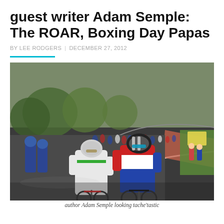guest writer Adam Semple: The ROAR, Boxing Day Papas
BY LEE RODGERS  |  DECEMBER 27, 2012
[Figure (photo): A group of cyclists racing on a road circuit, with two lead riders in the foreground — one in white with sunglasses, one in red/blue/white — and a large peloton stretching behind them along a curving path. Spectators and trees line the route.]
author Adam Semple looking tache'tastic